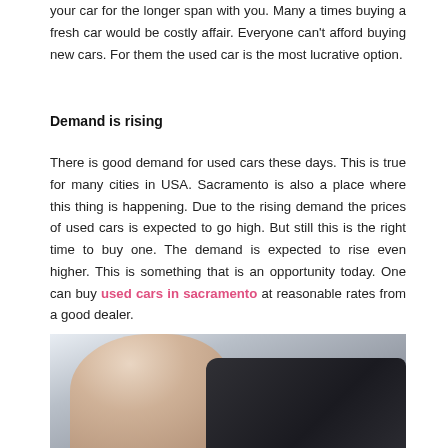your car for the longer span with you. Many a times buying a fresh car would be costly affair. Everyone can't afford buying new cars. For them the used car is the most lucrative option.
Demand is rising
There is good demand for used cars these days. This is true for many cities in USA. Sacramento is also a place where this thing is happening. Due to the rising demand the prices of used cars is expected to go high. But still this is the right time to buy one. The demand is expected to rise even higher. This is something that is an opportunity today. One can buy used cars in sacramento at reasonable rates from a good dealer.
[Figure (photo): A woman with long blonde hair looking down, standing next to a dark car in what appears to be a car dealership or parking area.]